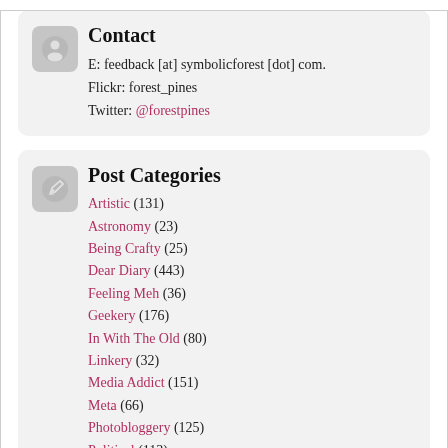Contact
E: feedback [at] symbolicforest [dot] com.
Flickr: forest_pines
Twitter: @forestpines
Post Categories
Artistic (131)
Astronomy (23)
Being Crafty (25)
Dear Diary (443)
Feeling Meh (36)
Geekery (176)
In With The Old (80)
Linkery (32)
Media Addict (151)
Meta (66)
Photobloggery (125)
Political (113)
Technology (47)
The Family (76)
The Old Blog (31)
The Old Office (83)
Trains (64)